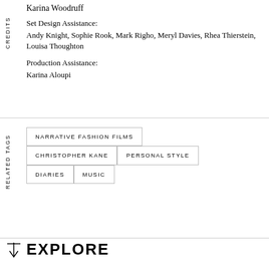Karina Woodruff
Set Design Assistance:
Andy Knight, Sophie Rook, Mark Righo, Meryl Davies, Rhea Thierstein, Louisa Thoughton
Production Assistance:
Karina Aloupi
NARRATIVE FASHION FILMS
CHRISTOPHER KANE
PERSONAL STYLE
DIARIES
MUSIC
EXPLORE